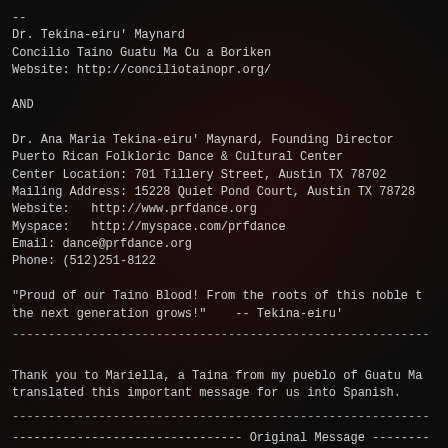--
Dr. Tekina-eiru' Maynard
Concilio Taino Guatu Ma Cu a Boriken
Website: http://conciliotainopr.org/

AND

Dr. Ana Maria Tekina-eiru' Maynard, Founding Director
Puerto Rican Folkloric Dance & Cultural Center
Center Location: 701 Tillery Street, Austin TX 78702
Mailing Address: 15228 Quiet Pond Court, Austin TX 78728
Website:   http://www.prfdance.org
Myspace:   http://myspace.com/prfdance
Email: dance@prfdance.org
Phone: (512)251-8122

"Proud of our Taino Blood! From the roots of this noble t
the next generation grows!"    -- Tekina-eiru'
Thank you to Mariella, a Taina from my pueblo of Guatu Ma
translated this important message for us into Spanish.
-------------------------------- Original Message --------
Subject: PRFDance - (Espanol) Taino Census 2010, Prensa y
From: "Dr. Ana Maria Tekina-eiru Maynard"